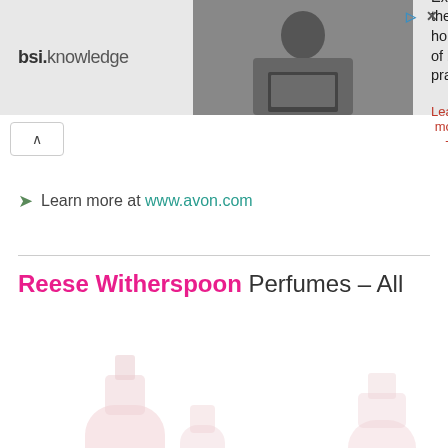[Figure (screenshot): BSI Knowledge ad banner with photo of man working on laptop, text 'Explore the new home of best practice' and 'Learn more' link]
Learn more at www.avon.com
Reese Witherspoon Perfumes – All
[Figure (photo): Two faded/light perfume bottle product images side by side]